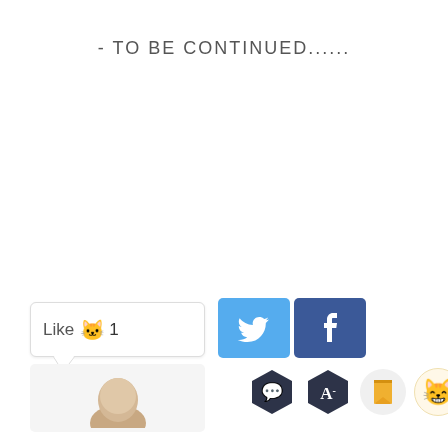- TO BE CONTINUED......
[Figure (screenshot): Social media interaction bar with Like button showing a cat emoji and count of 1, Twitter and Facebook share buttons, a profile thumbnail, and action icons including comment, font, bookmark, and emoji buttons]